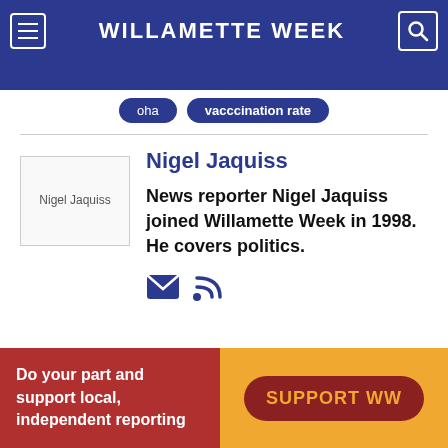WILLAMETTE WEEK
oha
vacccination rate
[Figure (photo): Nigel Jaquiss author photo placeholder]
Nigel Jaquiss
News reporter Nigel Jaquiss joined Willamette Week in 1998. He covers politics.
Do your part and support local, independent reporting
SUPPORT WW